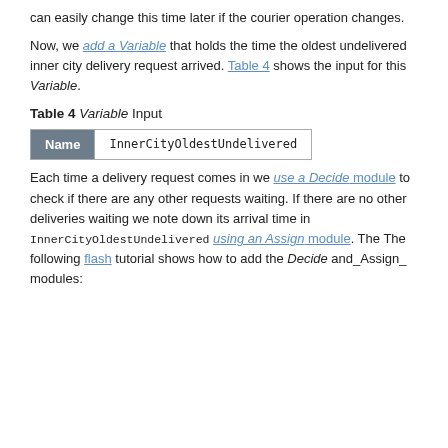can easily change this time later if the courier operation changes.
Now, we add a Variable that holds the time the oldest undelivered inner city delivery request arrived. Table 4 shows the input for this Variable.
Table 4 Variable Input
| Name | InnerCityOldestUndelivered |
| --- | --- |
Each time a delivery request comes in we use a Decide module to check if there are any other requests waiting. If there are no other deliveries waiting we note down its arrival time in InnerCityOldestUndelivered using an Assign module. The The following flash tutorial shows how to add the Decide and_Assign_ modules: